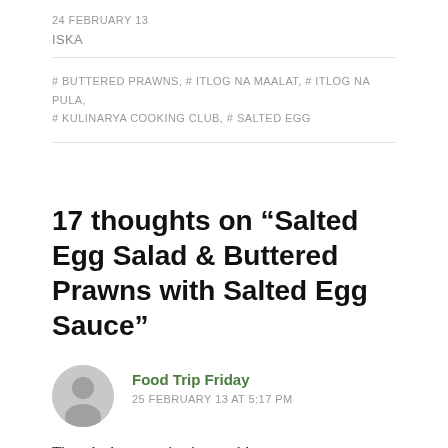24 FEBRUARY 13
ISKA
# BUTTERED PRAWNS, # ITLOG NA MAALAT, # ITLOG NA PULA, # KULINARYA COOKING CLUB, # SALTED EGG
17 thoughts on “Salted Egg Salad & Buttered Prawns with Salted Egg Sauce”
Food Trip Friday
25 FEBRUARY 13 AT 5:17 PM
The salted egg serving is superb!
Food Trip Friday recently posted